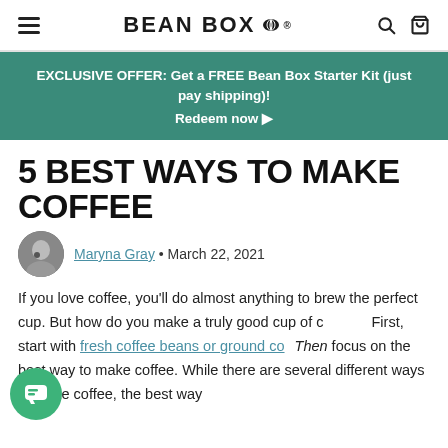BEAN BOX
EXCLUSIVE OFFER: Get a FREE Bean Box Starter Kit (just pay shipping)! Redeem now ▶
5 BEST WAYS TO MAKE COFFEE
Maryna Gray • March 22, 2021
If you love coffee, you'll do almost anything to brew the perfect cup. But how do you make a truly good cup of coffee? First, start with fresh coffee beans or ground coffee. Then focus on the best way to make coffee. While there are several different ways to make coffee, the best way